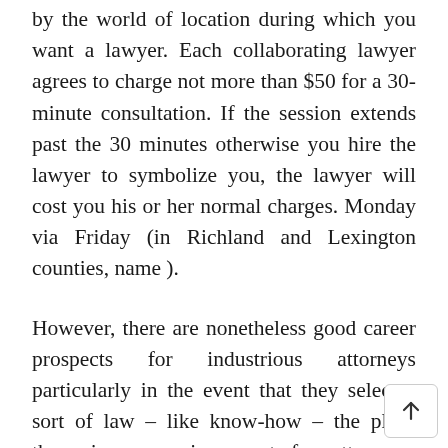by the world of location during which you want a lawyer. Each collaborating lawyer agrees to charge not more than $50 for a 30-minute consultation. If the session extends past the 30 minutes otherwise you hire the lawyer to symbolize you, the lawyer will cost you his or her normal charges. Monday via Friday (in Richland and Lexington counties, name ).
However, there are nonetheless good career prospects for industrious attorneys particularly in the event that they select a sort of law – like know-how – the place there is a growing want for attorneys. Traditionally, common-law courts administered the Common Law, that's, law based mostly on prior selections quite than statutes. These new common-legislation courts, however